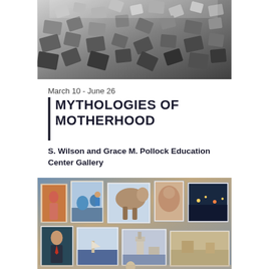[Figure (photo): Black and white photograph of scattered wooden alphabet/building blocks piled together in a heap]
March 10 - June 26
MYTHOLOGIES OF MOTHERHOOD
S. Wilson and Grace M. Pollock Education Center Gallery
[Figure (photo): Color photograph showing an art gallery or studio with multiple paintings displayed, including portraits and landscape scenes with figures]